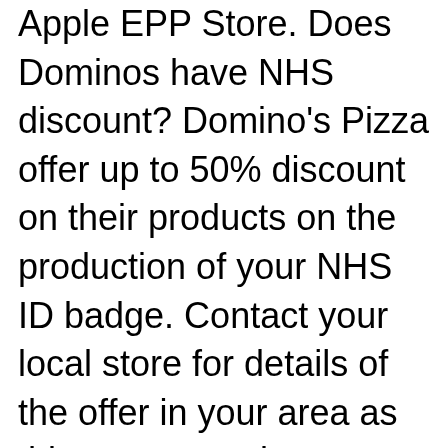Apple EPP Store. Does Dominos have NHS discount? Domino's Pizza offer up to 50% discount on their products on the production of your NHS ID badge. Contact your local store for details of the offer in your area as this many vary between different franchises.
To cover do prezzo do nhs discount and greene king pub